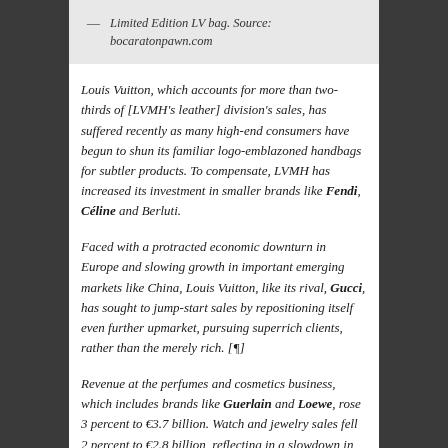— Limited Edition LV bag. Source: bocaratonpawn.com
Louis Vuitton, which accounts for more than two-thirds of [LVMH's leather] division's sales, has suffered recently as many high-end consumers have begun to shun its familiar logo-emblazoned handbags for subtler products. To compensate, LVMH has increased its investment in smaller brands like Fendi, Céline and Berluti.
Faced with a protracted economic downturn in Europe and slowing growth in important emerging markets like China, Louis Vuitton, like its rival, Gucci, has sought to jump-start sales by repositioning itself even further upmarket, pursuing superrich clients, rather than the merely rich. [¶]
Revenue at the perfumes and cosmetics business, which includes brands like Guerlain and Loewe, rose 3 percent to €3.7 billion. Watch and jewelry sales fell 2 percent to €2.8 billion, reflecting in a slowdown in China, where a government crackdown on